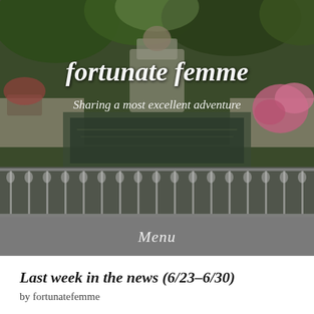[Figure (photo): Header image of a formal garden with a long reflecting pool, classical stone architecture, iron fence in foreground, lush green trees, and pink flowers on the right. Overlaid with blog title and tagline text.]
fortunate femme
Sharing a most excellent adventure
Menu
Last week in the news (6/23-6/30)
by fortunatefemme
This was an awesome week in news. The good, the